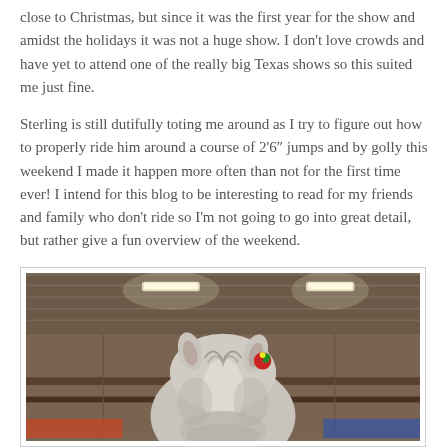close to Christmas, but since it was the first year for the show and amidst the holidays it was not a huge show. I don't love crowds and have yet to attend one of the really big Texas shows so this suited me just fine.
Sterling is still dutifully toting me around as I try to figure out how to properly ride him around a course of 2'6" jumps and by golly this weekend I made it happen more often than not for the first time ever! I intend for this blog to be interesting to read for my friends and family who don't ride so I'm not going to go into great detail, but rather give a fun overview of the weekend.
[Figure (photo): A gray/white horse's head and neck seen from above, inside a barn with metal ceiling and fluorescent lights. The horse is wearing a colorful ornament or decoration near its ear. The stall or aisle area is visible in the background.]